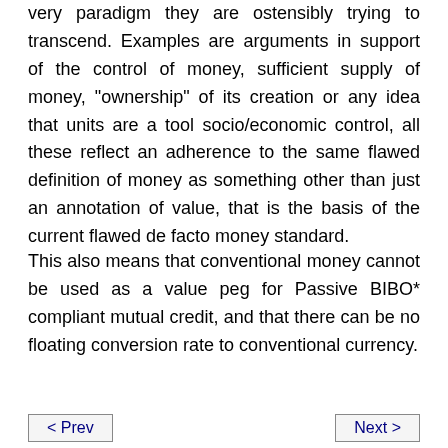very paradigm they are ostensibly trying to transcend. Examples are arguments in support of the control of money, sufficient supply of money, "ownership" of its creation or any idea that units are a tool socio/economic control, all these reflect an adherence to the same flawed definition of money as something other than just an annotation of value, that is the basis of the current flawed de facto money standard.
This also means that conventional money cannot be used as a value peg for Passive BIBO* compliant mutual credit, and that there can be no floating conversion rate to conventional currency.
< Prev    Next >